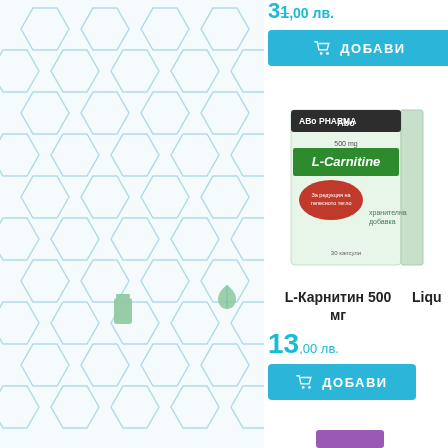[Figure (other): Decorative hexagonal pattern background in light blue/teal on white, with small green leaf and green bottle icons]
31,00 лв.
ДОБАВИ
[Figure (photo): AboPharma L-Carnitine 500mg product box - green and white packaging with figures of adults and children on it, red label stripe]
L-Карнитин 500 мг
13,00 лв.
ДОБАВИ
Liqu...